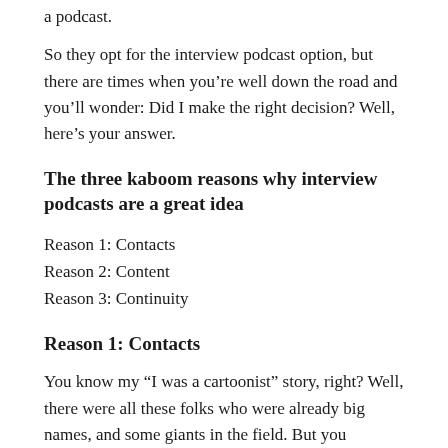a podcast.
So they opt for the interview podcast option, but there are times when you’re well down the road and you’ll wonder: Did I make the right decision? Well, here’s your answer.
The three kaboom reasons why interview podcasts are a great idea
Reason 1: Contacts
Reason 2: Content
Reason 3: Continuity
Reason 1: Contacts
You know my “I was a cartoonist” story, right? Well, there were all these folks who were already big names, and some giants in the field. But you